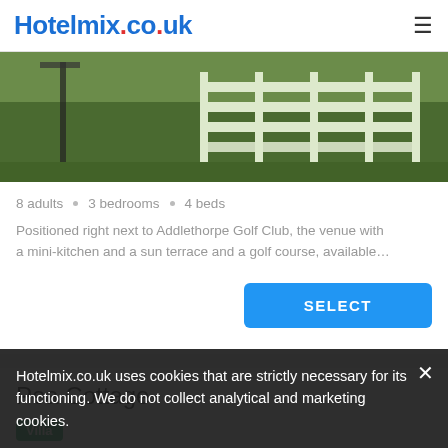Hotelmix.co.uk
[Figure (photo): Partial view of a golf course area with white fence/railing and green grass, cropped at top]
8 adults • 3 bedrooms • 4 beds
Positioned right next to Addlethorpe Golf Club, the venue with a mini-kitchen and a sun terrace and a golf course, available...
SELECT
Pea Cottage
Villa
[Figure (photo): Interior photo of Pea Cottage, partial view showing warm-toned room]
Hotelmix.co.uk uses cookies that are strictly necessary for its functioning. We do not collect analytical and marketing cookies.